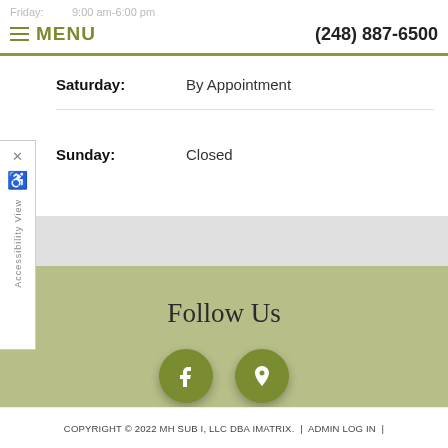Friday: 9:00 am-6:00 pm  ≡ MENU  (248) 887-6500
Saturday: By Appointment
Sunday: Closed
Follow Us
[Figure (other): Social media icons: Facebook (f) and Google Maps location pin, circular olive-green buttons]
COPYRIGHT © 2022 MH SUB I, LLC DBA IMATRIX.  |  ADMIN LOG IN  |